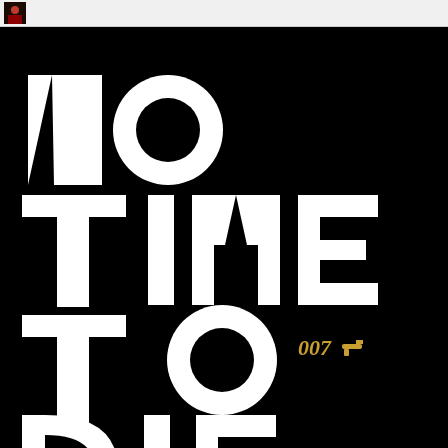[Figure (illustration): No Time To Die 007 James Bond movie title card/logo on black background. Large bold white geometric lettering arranged in four stacked rows: 'NO', 'TIME', 'TO', 'DIE'. The '007' logo with a small gun appears in gold/tan color to the right of 'TO'. The typography features cutout circular forms within the letters giving them a distinctive geometric style.]